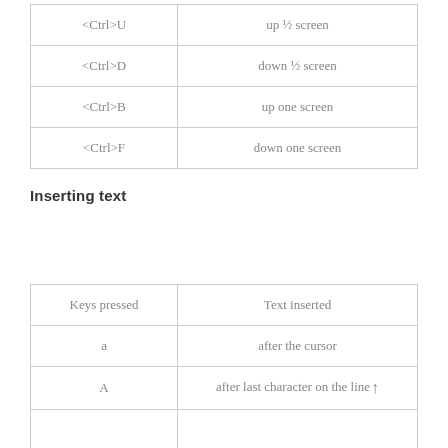|  |  |
| --- | --- |
| <Ctrl>U | up ½ screen |
| <Ctrl>D | down ½ screen |
| <Ctrl>B | up one screen |
| <Ctrl>F | down one screen |
Inserting text
| Keys pressed | Text inserted |
| --- | --- |
| a | after the cursor |
| A | after last character on the line↑ |